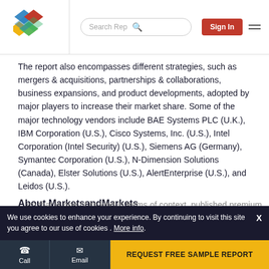[Figure (logo): MarketsandMarkets colorful diamond logo in blue, red, yellow, green]
The report also encompasses different strategies, such as mergers & acquisitions, partnerships & collaborations, business expansions, and product developments, adopted by major players to increase their market share. Some of the major technology vendors include BAE Systems PLC (U.K.), IBM Corporation (U.S.), Cisco Systems, Inc. (U.S.), Intel Corporation (Intel Security) (U.S.), Siemens AG (Germany), Symantec Corporation (U.S.), N-Dimension Solutions (Canada), Elster Solutions (U.S.), AlertEnterprise (U.S.), and Leidos (U.S.).
About MarketsandMarkets
We use cookies to enhance your experience. By continuing to visit this site you agree to our use of cookies . More info.
REQUEST FREE SAMPLE REPORT